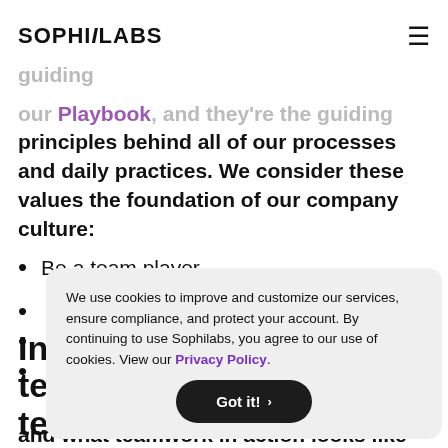SOPHiLABS
Our values drive everything we do at SOPHiLABS, and they're the guiding principles behind all of our processes and daily practices. We consider these values the foundation of our company culture:
Be a team player
In te te so
and what teamwork in action looks like
We use cookies to improve and customize our services, ensure compliance, and protect your account. By continuing to use Sophilabs, you agree to our use of cookies. View our Privacy Policy.